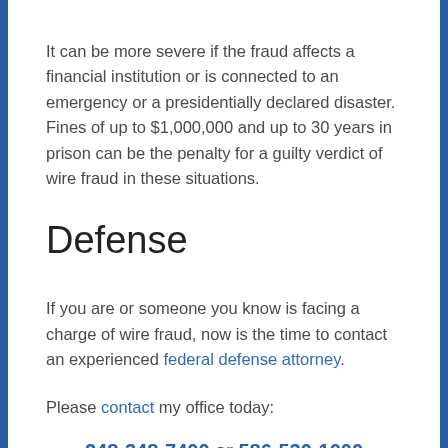It can be more severe if the fraud affects a financial institution or is connected to an emergency or a presidentially declared disaster. Fines of up to $1,000,000 and up to 30 years in prison can be the penalty for a guilty verdict of wire fraud in these situations.
Defense
If you are or someone you know is facing a charge of wire fraud, now is the time to contact an experienced federal defense attorney.
Please contact my office today:
248-348-7400 or 586-530-1000